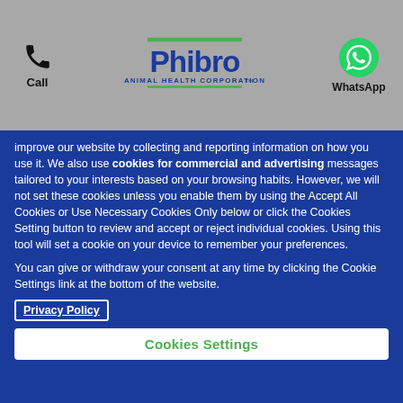[Figure (logo): Phibro Animal Health Corporation logo with phone/Call icon on left and WhatsApp icon on right in a gray header bar]
improve our website by collecting and reporting information on how you use it. We also use cookies for commercial and advertising messages tailored to your interests based on your browsing habits. However, we will not set these cookies unless you enable them by using the Accept All Cookies or Use Necessary Cookies Only below or click the Cookies Setting button to review and accept or reject individual cookies. Using this tool will set a cookie on your device to remember your preferences.

You can give or withdraw your consent at any time by clicking the Cookie Settings link at the bottom of the website.
Privacy Policy
Cookies Settings